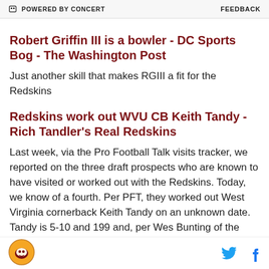POWERED BY CONCERT | FEEDBACK
Robert Griffin III is a bowler - DC Sports Bog - The Washington Post
Just another skill that makes RGIII a fit for the Redskins
Redskins work out WVU CB Keith Tandy - Rich Tandler's Real Redskins
Last week, via the Pro Football Talk visits tracker, we reported on the three draft prospects who are known to have visited or worked out with the Redskins. Today, we know of a fourth. Per PFT, they worked out West Virginia cornerback Keith Tandy on an unknown date. Tandy is 5-10 and 199 and, per Wes Bunting of the